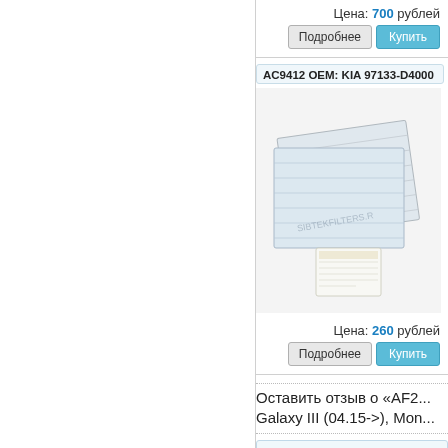Цена: 700 рублей
Подробнее   Купить
AC9412 OEM: KIA 97133-D4000
[Figure (photo): Product photo of two cabin air filters with label, watermarked SIBTEKFILTERS.R]
Цена: 260 рублей
Подробнее   Купить
Оставить отзыв о «AF2... Galaxy III (04.15->), Mon...
Ваши знания будут оценены
Ваше имя:*